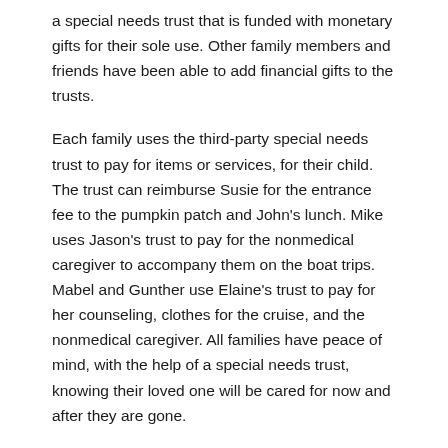a special needs trust that is funded with monetary gifts for their sole use. Other family members and friends have been able to add financial gifts to the trusts.
Each family uses the third-party special needs trust to pay for items or services, for their child. The trust can reimburse Susie for the entrance fee to the pumpkin patch and John's lunch. Mike uses Jason's trust to pay for the nonmedical caregiver to accompany them on the boat trips. Mabel and Gunther use Elaine's trust to pay for her counseling, clothes for the cruise, and the nonmedical caregiver. All families have peace of mind, with the help of a special needs trust, knowing their loved one will be cared for now and after they are gone.